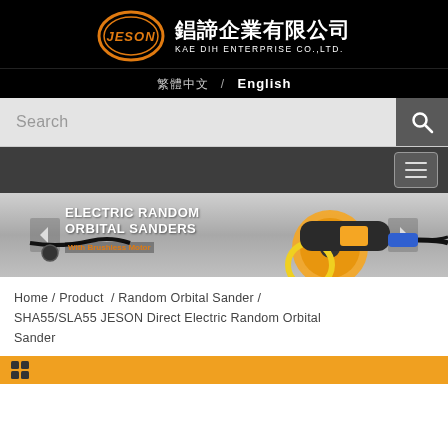[Figure (logo): JESON company logo: orange oval with JESON text and Chinese company name 錩諦企業有限公司, KAE DIH ENTERPRISE CO.,LTD.]
繁體中文 / English
[Figure (screenshot): Search bar with placeholder text 'Search' and a search icon button]
[Figure (photo): Electric Random Orbital Sanders with Brushless Motor product banner image showing orange/yellow orbital sander tool]
Home / Product / Random Orbital Sander / SHA55/SLA55 JESON Direct Electric Random Orbital Sander
[Figure (other): Bottom orange bar with product category icons]